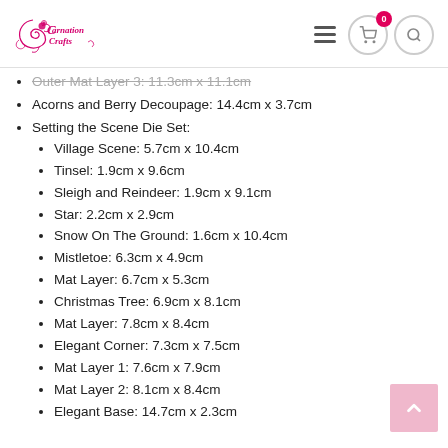Carnation Crafts
Outer Mat Layer 3: 11.3cm x 11.1cm (strikethrough/partial)
Acorns and Berry Decoupage: 14.4cm x 3.7cm
Setting the Scene Die Set:
Village Scene: 5.7cm x 10.4cm
Tinsel: 1.9cm x 9.6cm
Sleigh and Reindeer: 1.9cm x 9.1cm
Star: 2.2cm x 2.9cm
Snow On The Ground: 1.6cm x 10.4cm
Mistletoe: 6.3cm x 4.9cm
Mat Layer: 6.7cm x 5.3cm
Christmas Tree: 6.9cm x 8.1cm
Mat Layer: 7.8cm x 8.4cm
Elegant Corner: 7.3cm x 7.5cm
Mat Layer 1: 7.6cm x 7.9cm
Mat Layer 2: 8.1cm x 8.4cm
Elegant Base: 14.7cm x 2.3cm